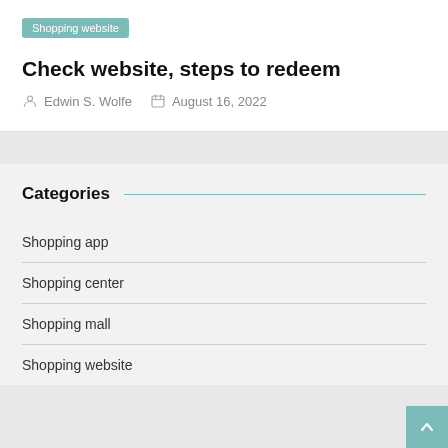Shopping website
Check website, steps to redeem
Edwin S. Wolfe   August 16, 2022
Categories
Shopping app
Shopping center
Shopping mall
Shopping website